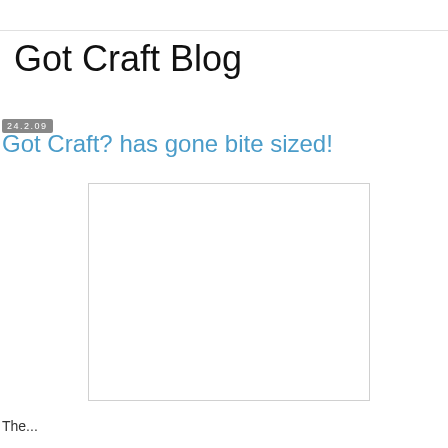Got Craft Blog
24.2.09
Got Craft? has gone bite sized!
[Figure (photo): White/blank image placeholder with light gray border]
The...